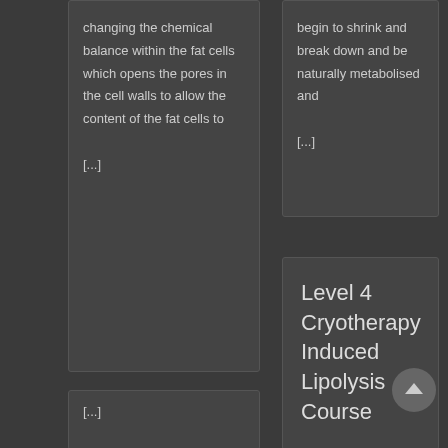changing the chemical balance within the fat cells which opens the pores in the cell walls to allow the content of the fat cells to [...]
begin to shrink and break down and be naturally metabolised and [...]
[...]
Level 4 Cryotherapy Induced Lipolysis Course